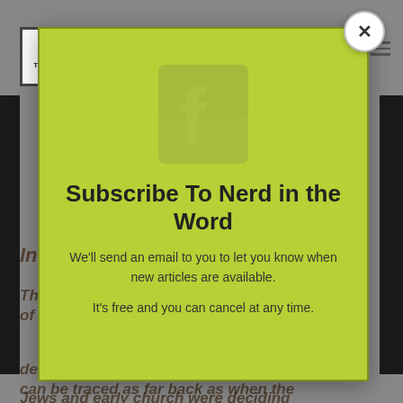[Figure (logo): Nerd in the Word logo — white box with bold text 'N NERD IN THE WORD']
Interpretations of Song of Solomon
Throughout history, the meaning of Song of Solomon has been a great debate. Arguments about its purpose can be traced as far back as when the Jews and early church were deciding
Subscribe To Nerd in the Word
We'll send an email to you to let you know when new articles are available.
It's free and you can cancel at any time.